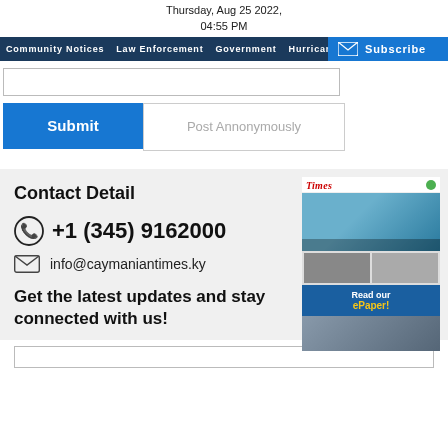Thursday, Aug 25 2022,
04:55 PM
Community Notices  Law Enforcement  Government  Hurricane Watch  CO...
Subscribe
Submit
Post Annonymously
Contact Detail
+1 (345) 9162000
info@caymaniantimes.ky
Get the latest updates and stay connected with us!
[Figure (screenshot): Caymanian Times ePaper thumbnail with 'Read our ePaper!' overlay button]